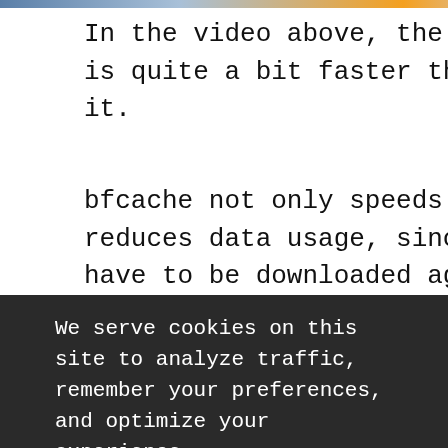[Figure (photo): Partial view of a video thumbnail with colorful imagery visible at the top of the page]
In the video above, the example with bfcache is quite a bit faster than the example without it.
bfcache not only speeds up navigation, it also reduces data usage, since resources do not have to be downloaded again.
Chrome usage data shows that 1 in 10
We serve cookies on this site to analyze traffic, remember your preferences, and optimize your experience.
MORE DETAILS
OK